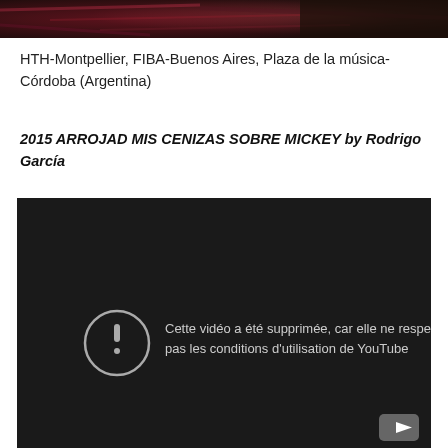[Figure (photo): Partial top image showing dark red/maroon textured background, cropped at top of page]
HTH-Montpellier, FIBA-Buenos Aires, Plaza de la música-Córdoba (Argentina)
2015 ARROJAD MIS CENIZAS SOBRE MICKEY by Rodrigo García
[Figure (screenshot): YouTube video player showing error message: 'Cette vidéo a été supprimée, car elle ne respectait pas les conditions d'utilisation de YouTube' with warning icon and YouTube play button in bottom right corner, dark background]